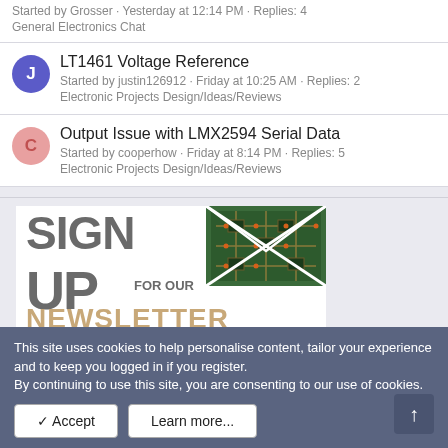Started by Grosser · Yesterday at 12:14 PM · Replies: 4
General Electronics Chat
LT1461 Voltage Reference
Started by justin126912 · Friday at 10:25 AM · Replies: 2
Electronic Projects Design/Ideas/Reviews
Output Issue with LMX2594 Serial Data
Started by cooperhow · Friday at 8:14 PM · Replies: 5
Electronic Projects Design/Ideas/Reviews
[Figure (illustration): Newsletter signup banner with 'SIGN UP FOR OUR NEWSLETTER' text overlaid on a PCB circuit board photo]
This site uses cookies to help personalise content, tailor your experience and to keep you logged in if you register.
By continuing to use this site, you are consenting to our use of cookies.